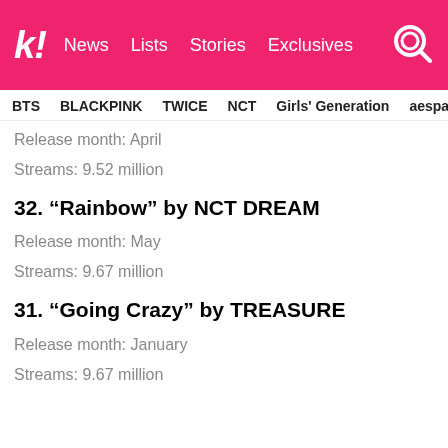k! News Lists Stories Exclusives
BTS BLACKPINK TWICE NCT Girls' Generation aespa
Release month: April
Streams: 9.52 million
32. “Rainbow” by NCT DREAM
Release month: May
Streams: 9.67 million
31. “Going Crazy” by TREASURE
Release month: January
Streams: 9.67 million